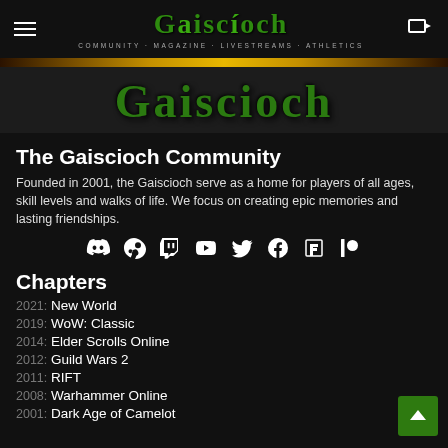Gaiscioch — COMMUNITY · MAGAZINE · LIVESTREAMS · ATHLETICS
[Figure (logo): Gaiscioch logo in large green Celtic font with tagline COMMUNITY · MAGAZINE · LIVESTREAMS · ATHLETICS]
The Gaiscioch Community
Founded in 2001, the Gaiscioch serve as a home for players of all ages, skill levels and walks of life. We focus on creating epic memories and lasting friendships.
[Figure (infographic): Social media icons row: Discord, Steam, Twitch, YouTube, Twitter, Facebook, Flipboard, Patreon]
Chapters
2021: New World
2019: WoW: Classic
2014: Elder Scrolls Online
2012: Guild Wars 2
2011: RIFT
2008: Warhammer Online
2001: Dark Age of Camelot